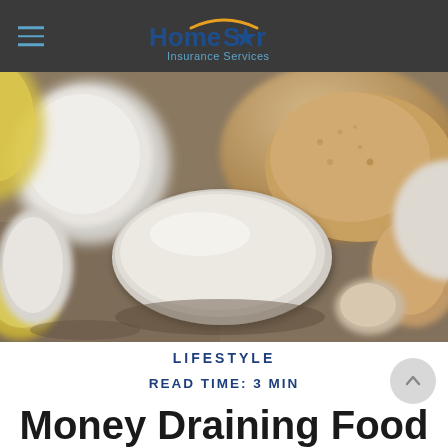HomeStar Insurance Services
[Figure (photo): Close-up macro photo of multiple white and beige pills/tablets arranged on a surface, with bread in the background suggesting food and nutrition supplement theme]
LIFESTYLE
READ TIME: 3 MIN
Money Draining Food Myths